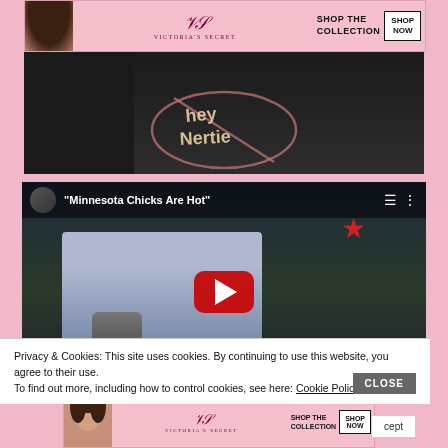[Figure (screenshot): Victoria's Secret advertisement banner at top with model photo, VS monogram logo, 'SHOP THE COLLECTION' text, and 'SHOP NOW' button]
[Figure (photo): Dark background image with chalk drawing text reading 'HEY Nertie' inside a heart outline on pavement/ground]
[Figure (screenshot): YouTube video embed with dark background, man holding thermos/coffee mug, red star visible, title bar reading '"Minnesota Chicks Are Hot"', red play button centered]
Privacy & Cookies: This site uses cookies. By continuing to use this website, you agree to their use.
To find out more, including how to control cookies, see here: Cookie Policy
[Figure (screenshot): Victoria's Secret advertisement banner at bottom with model photo, VS monogram logo, 'SHOP THE COLLECTION' text, and 'SHOP NOW' button, partially overlapping cookie notice and 'cept' text (Accept button)]